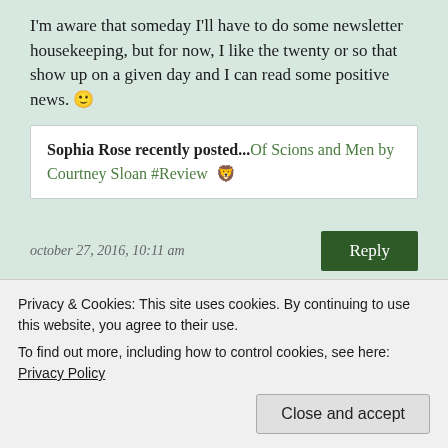I'm aware that someday I'll have to do some newsletter housekeeping, but for now, I like the twenty or so that show up on a given day and I can read some positive news. 🙂
Sophia Rose recently posted...Of Scions and Men by Courtney Sloan #Review 🦁
october 27, 2016, 10:11 am
Reply
lola
Privacy & Cookies: This site uses cookies. By continuing to use this website, you agree to their use.
To find out more, including how to control cookies, see here: Privacy Policy
Close and accept